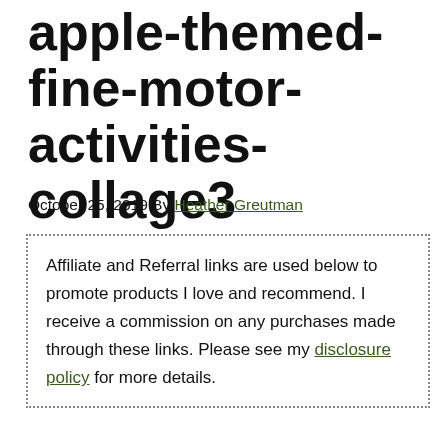apple-themed-fine-motor-activities-collage3
October 25, 2019 By Heather Greutman
Affiliate and Referral links are used below to promote products I love and recommend. I receive a commission on any purchases made through these links. Please see my disclosure policy for more details.